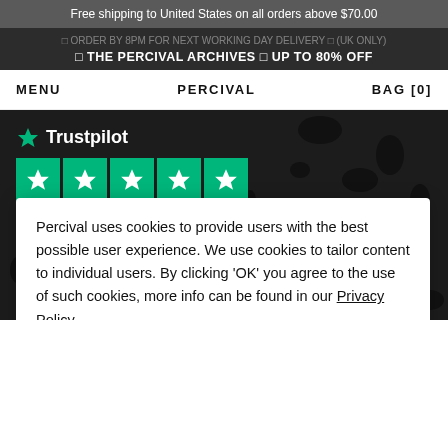Free shipping to United States on all orders above $70.00
□ ORDER BY 8PM FOR NEXT WORKING DAY DELIVERY □ (UK ONLY) □ THE PERCIVAL ARCHIVES □ UP TO 80% OFF
MENU   PERCIVAL   BAG [0]
[Figure (logo): Trustpilot logo with green star icon, 5 green star rating boxes, and TrustScore 4.8 on dark spotted background]
Percival uses cookies to provide users with the best possible user experience. We use cookies to tailor content to individual users. By clicking 'OK' you agree to the use of such cookies, more info can be found in our Privacy Policy.
OK